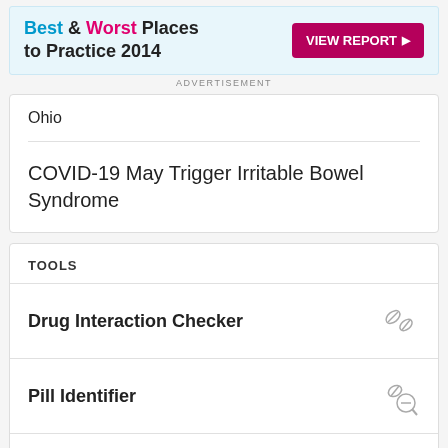[Figure (other): Advertisement banner: Best & Worst Places to Practice 2014 with VIEW REPORT button]
ADVERTISEMENT
Ohio
COVID-19 May Trigger Irritable Bowel Syndrome
TOOLS
Drug Interaction Checker
Pill Identifier
Calculators
Formulary